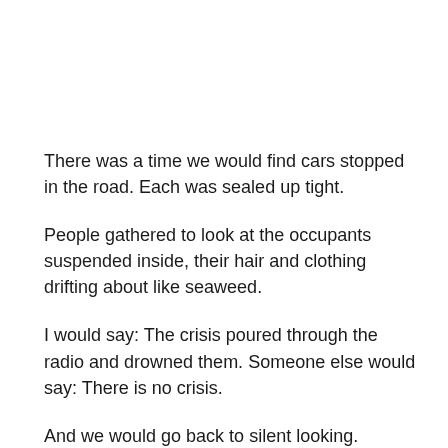There was a time we would find cars stopped in the road. Each was sealed up tight.
People gathered to look at the occupants suspended inside, their hair and clothing drifting about like seaweed.
I would say: The crisis poured through the radio and drowned them. Someone else would say: There is no crisis.
And we would go back to silent looking.
Sometimes there were one or two; others an entire neighborhood.
We never knew what happened.